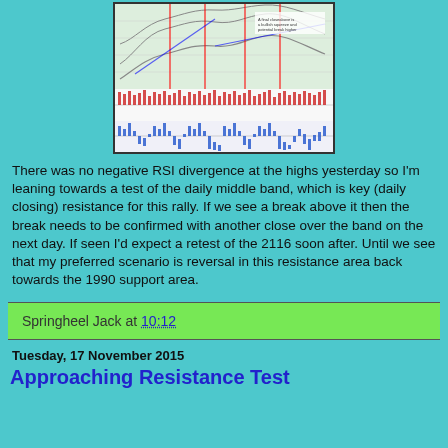[Figure (continuous-plot): Multi-panel financial chart showing price action with Bollinger Bands, RSI indicator in red histogram, and MACD/oscillator in blue histogram at the bottom. Contains trend lines and annotations.]
There was no negative RSI divergence at the highs yesterday so I'm leaning towards a test of the daily middle band, which is key (daily closing) resistance for this rally. If we see a break above it then the break needs to be confirmed with another close over the band on the next day. If seen I'd expect a retest of the 2116 soon after. Until we see that my preferred scenario is reversal in this resistance area back towards the 1990 support area.
Springheel Jack at 10:12
Tuesday, 17 November 2015
Approaching Resistance Test